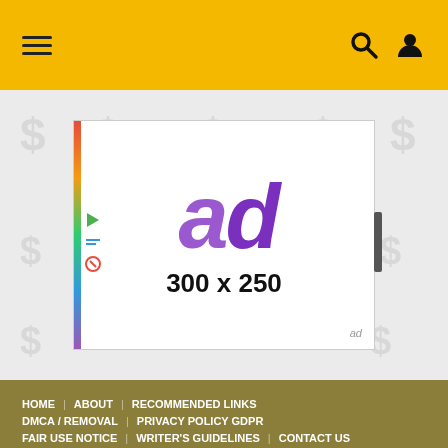≡  🔍  👤
[Figure (infographic): Ad placeholder showing purple 'ad' text and '300 x 250' dimensions on white background with dollar sign watermarks]
HOME  ABOUT  RECOMMENDED LINKS  DMCA / REMOVAL  PRIVACY POLICY GDPR  FAIR USE NOTICE  WRITER'S GUIDELINES  CONTACT US  © 2022 All Rights Reserved. Copyright Ancient Code.
[Figure (screenshot): CVS Pharmacy ad banner: '50+ Same Day Photo Products CVS Photo']